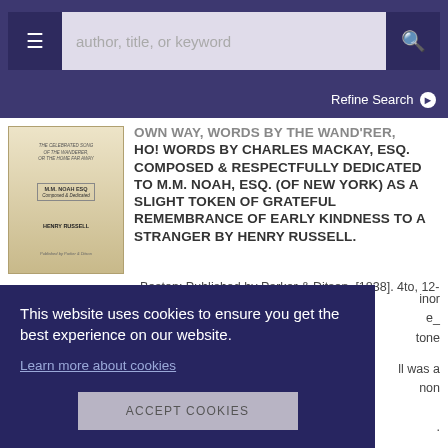author, title, or keyword
Refine Search
[Figure (photo): Cover of a sheet music book, aged paper, with ornate text including M.M. NOAH ESQ and HENRY RUSSELL at bottom]
HO! WORDS BY CHARLES MACKAY, ESQ. COMPOSED & RESPECTFULLY DEDICATED TO M.M. NOAH, ESQ. (OF NEW YORK) AS A SLIGHT TOKEN OF GRATEFUL REMEMBRANCE OF EARLY KINDNESS TO A STRANGER BY HENRY RUSSELL.
Boston: Published by Parker & Ditson, [1838]. 4to, 12-3/4" x 10".7, [1 blank]
This website uses cookies to ensure you get the best experience on our website.
Learn more about cookies
ACCEPT COOKIES